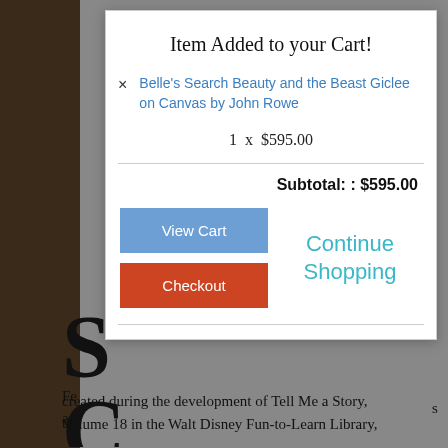Item Added to your Cart!
Belle's Search Beauty and the Beast Giclee on Canvas by John Rowe
1  x  $595.00
Subtotal: : $595.00
View Cart
Continue Shopping
Checkout
created during the development of Tell Me a Story, Volume 18 in the Walt Disney Fun-to-Learn Library,